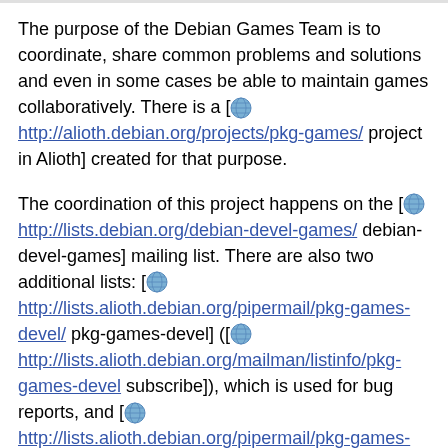The purpose of the Debian Games Team is to coordinate, share common problems and solutions and even in some cases be able to maintain games collaboratively. There is a [http://alioth.debian.org/projects/pkg-games/ project in Alioth] created for that purpose.
The coordination of this project happens on the [http://lists.debian.org/debian-devel-games/ debian-devel-games] mailing list. There are also two additional lists: [http://lists.alioth.debian.org/pipermail/pkg-games-devel/ pkg-games-devel] ([http://lists.alioth.debian.org/mailman/listinfo/pkg-games-devel subscribe]), which is used for bug reports, and [http://lists.alioth.debian.org/pipermail/pkg-games-commits/ pkg-games-commits] ([